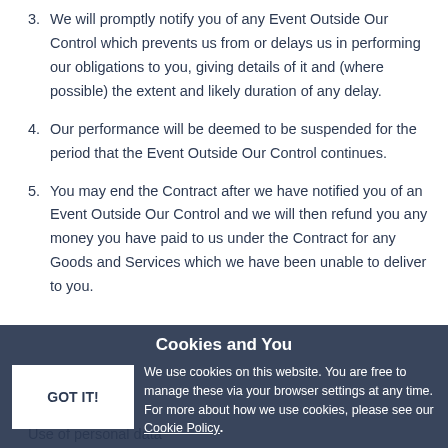3. We will promptly notify you of any Event Outside Our Control which prevents us from or delays us in performing our obligations to you, giving details of it and (where possible) the extent and likely duration of any delay.
4. Our performance will be deemed to be suspended for the period that the Event Outside Our Control continues.
5. You may end the Contract after we have notified you of an Event Outside Our Control and we will then refund you any money you have paid to us under the Contract for any Goods and Services which we have been unable to deliver to you.
Use of personal data
Cookies and You
We use cookies on this website. You are free to manage these via your browser settings at any time. For more about how we use cookies, please see our Cookie Policy.